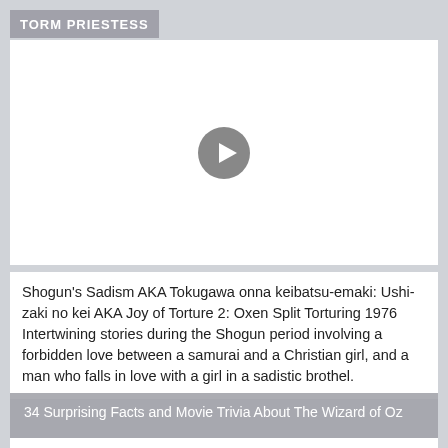TORM PRIESTESS
[Figure (screenshot): Video player placeholder with a grey play button circle on white background]
Shogun's Sadism AKA Tokugawa onna keibatsu-emaki: Ushizaki no kei AKA Joy of Torture 2: Oxen Split Torturing 1976 Intertwining stories during the Shogun period involving a forbidden love between a samurai and a Christian girl, and a man who falls in love with a girl in a sadistic brothel.
34 Surprising Facts and Movie Trivia About The Wizard of Oz